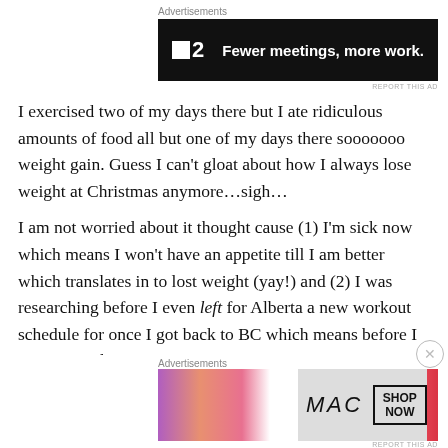[Figure (other): Advertisement banner: F2 logo with text 'Fewer meetings, more work.' on black background]
I exercised two of my days there but I ate ridiculous amounts of food all but one of my days there sooooooo weight gain. Guess I can't gloat about how I always lose weight at Christmas anymore…sigh…
I am not worried about it thought cause (1) I'm sick now which means I won't have an appetite till I am better which translates in to lost weight (yay!) and (2) I was researching before I even left for Alberta a new workout schedule for once I got back to BC which means before I even gained
[Figure (other): Advertisement banner: MAC cosmetics ad showing lipsticks with 'SHOP NOW' button]